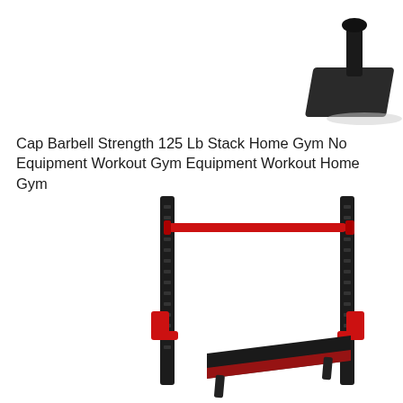[Figure (photo): A gym equipment attachment piece — appears to be a foot/ankle attachment or small plate holder, dark/black colored, photographed on white background, top-right area of page.]
Cap Barbell Strength 125 Lb Stack Home Gym No Equipment Workout Gym Equipment Workout Home Gym
[Figure (photo): A black and red power rack / squat rack with two tall vertical steel posts connected by a red horizontal pull-up bar near the top, red J-hooks on both posts, and a black padded weight bench placed inside the rack at the bottom.]